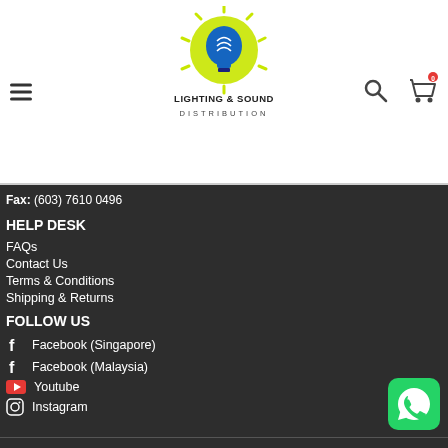[Figure (logo): Lighting & Sound Distribution logo — sun with lightbulb icon in yellow/green and blue, with company name below]
Lighting & Sound Distribution header with hamburger menu, logo, search icon, and cart icon with 0 badge
Fax: (603) 7610 0496
HELP DESK
FAQs
Contact Us
Terms & Conditions
Shipping & Returns
FOLLOW US
Facebook (Singapore)
Facebook (Malaysia)
Youtube
Instagram
[Figure (logo): WhatsApp floating button icon in green]